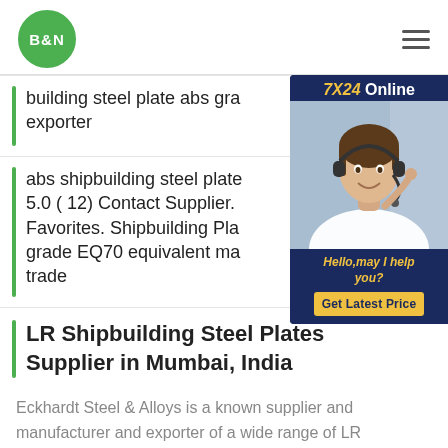B&N
building steel plate abs gra... exporter
abs shipbuilding steel plate... 5.0 ( 12) Contact Supplier. Favorites. Shipbuilding Pla... grade EQ70 equivalent ma... trade
[Figure (photo): Customer service representative with headset, chat widget with '7X24 Online' header, 'Hello,may I help you?' text, and 'Get Latest Price' button]
LR Shipbuilding Steel Plates Supplier in Mumbai, India
Eckhardt Steel & Alloys is a known supplier and manufacturer and exporter of a wide range of LR